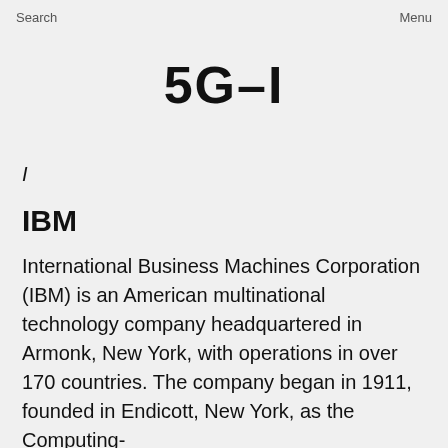Search   Menu
5G–I
I
IBM
International Business Machines Corporation (IBM) is an American multinational technology company headquartered in Armonk, New York, with operations in over 170 countries. The company began in 1911, founded in Endicott, New York, as the Computing-